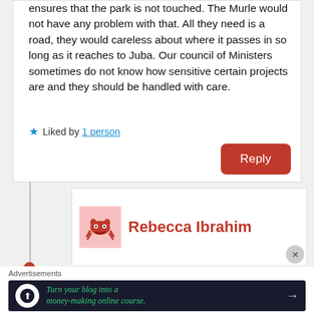ensures that the park is not touched. The Murle would not have any problem with that. All they need is a road, they would careless about where it passes in so long as it reaches to Juba. Our council of Ministers sometimes do not know how sensitive certain projects are and they should be handled with care.
Liked by 1 person
Reply
Rebecca Ibrahim
Advertisements
Turn your blog into a money-making online course.